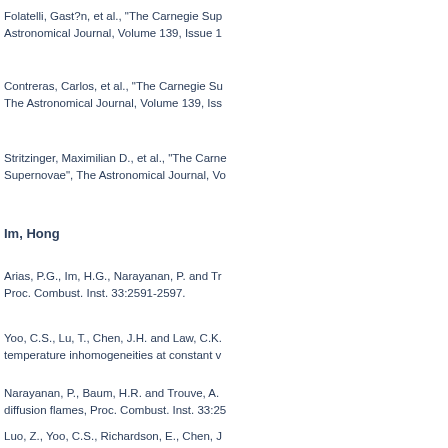Folatelli, Gast?n, et al., "The Carnegie Sup... Astronomical Journal, Volume 139, Issue 1
Contreras, Carlos, et al., "The Carnegie Su... The Astronomical Journal, Volume 139, Iss
Stritzinger, Maximilian D., et al., "The Carne... Supernovae", The Astronomical Journal, Vo
Im, Hong
Arias, P.G., Im, H.G., Narayanan, P. and Tr... Proc. Combust. Inst. 33:2591-2597.
Yoo, C.S., Lu, T., Chen, J.H. and Law, C.K.... temperature inhomogeneities at constant v
Narayanan, P., Baum, H.R. and Trouve, A.... diffusion flames, Proc. Combust. Inst. 33:25
Luo, Z., Yoo, C.S., Richardson, E., Chen, J... ethylene jet flame in highly-heated coflow, C
Sarathy, S.M., Westbrook, C.K., Mehl, M., P...